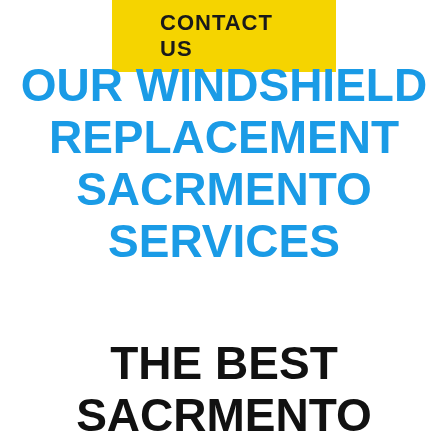[Figure (other): Yellow 'CONTACT US' button at top center of page]
OUR WINDSHIELD REPLACEMENT SACRMENTO SERVICES
THE BEST SACRMENTO